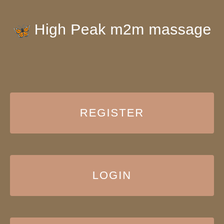🦋 High Peak m2m massage
REGISTER
LOGIN
CONTACT US
Luxury Bridal Boutique. The Edinburgh Woollen Mill. The Market.
Not found what you're looking for in ?
This site uses cookies to improve your experience, to enhance site security and to show you personalised advertising. Thanks for visiting us. Please press Start button to chat with our support :.
Divine wedding accessories and bridal shoes. It is always nice to